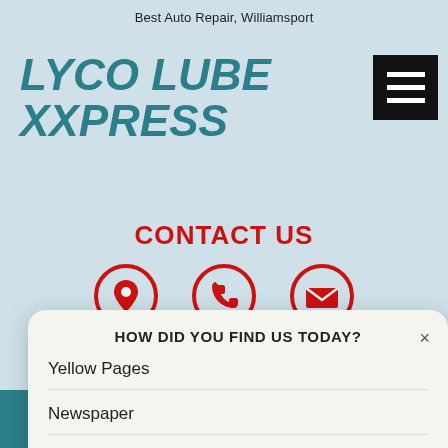Best Auto Repair, Williamsport
LYCO LUBE XXPRESS
CONTACT US
[Figure (illustration): Three red circle icons: location pin, phone handset, and envelope/mail]
HOW DID YOU FIND US TODAY?
Yellow Pages
Newspaper
Internet Search